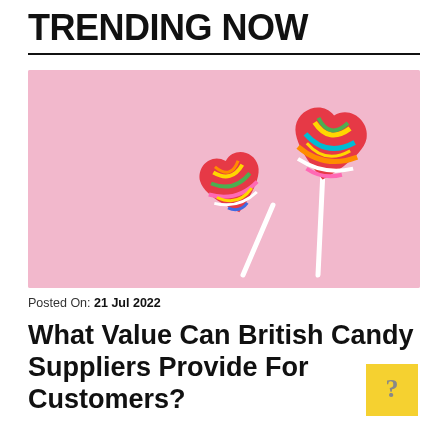TRENDING NOW
[Figure (photo): Two colorful heart-shaped lollipops on a pink background]
Posted On: 21 Jul 2022
What Value Can British Candy Suppliers Provide For Customers?